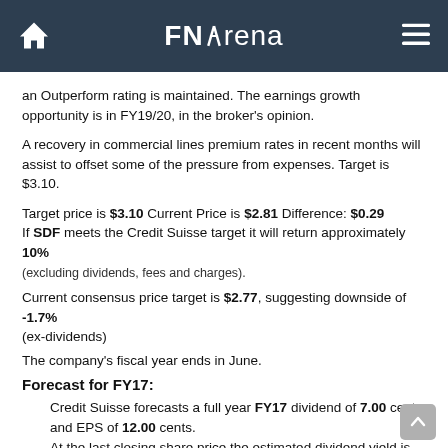FNArena
an Outperform rating is maintained. The earnings growth opportunity is in FY19/20, in the broker's opinion.
A recovery in commercial lines premium rates in recent months will assist to offset some of the pressure from expenses. Target is $3.10.
Target price is $3.10 Current Price is $2.81 Difference: $0.29
If SDF meets the Credit Suisse target it will return approximately 10%
(excluding dividends, fees and charges).
Current consensus price target is $2.77, suggesting downside of -1.7%
(ex-dividends)
The company's fiscal year ends in June.
Forecast for FY17:
Credit Suisse forecasts a full year FY17 dividend of 7.00 cents and EPS of 12.00 cents.
At the last closing share price the estimated dividend yield is 2.49%.
At the last closing share price the stock's estimated Price to Earnings Ratio (PER) is 23.42.
How do these forecasts compare to market consensus projections?